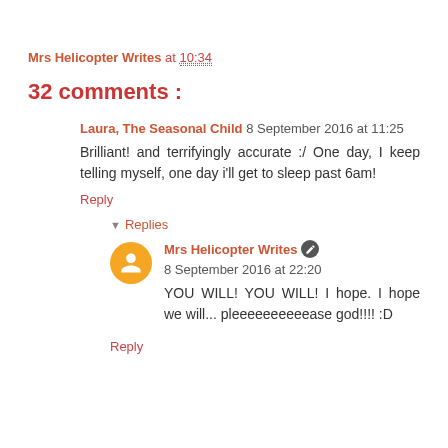Mrs Helicopter Writes at 10:34
32 comments :
Laura, The Seasonal Child  8 September 2016 at 11:25
Brilliant! and terrifyingly accurate :/ One day, I keep telling myself, one day i'll get to sleep past 6am!
Reply
Replies
Mrs Helicopter Writes  8 September 2016 at 22:20
YOU WILL! YOU WILL! I hope. I hope we will... pleeeeeeeeeease god!!!! :D
Reply